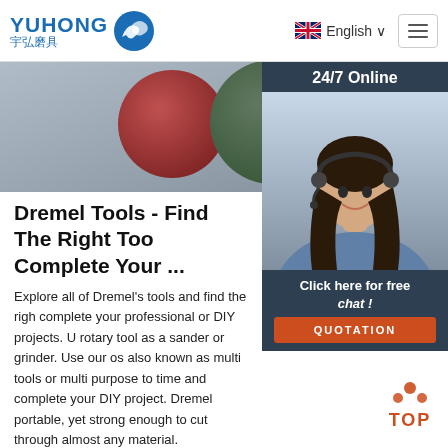[Figure (screenshot): Yuhong logo with blue wave icon and Chinese characters 宇弘磨具]
English ∨
[Figure (photo): Three abrasive grinding discs in red, dark green, and black colors partially visible at the top of the page]
[Figure (photo): 24/7 Online customer service agent, woman with headset smiling, with chat overlay panel showing 'Click here for free chat!' and QUOTATION button]
Dremel Tools - Find The Right Too Complete Your ...
Explore all of Dremel's tools and find the righ complete your professional or DIY projects. U rotary tool as a sander or grinder. Use our os also known as multi tools or multi purpose to time and complete your DIY project. Dremel portable, yet strong enough to cut through almost any material.
[Figure (other): Get Price button in dark red/brown color]
[Figure (other): TOP scroll-to-top button with orange dots forming chevron shape]